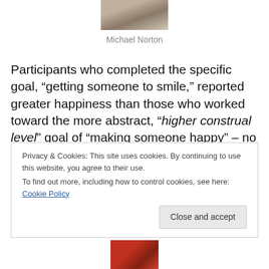[Figure (photo): Cropped photo of a person (Michael Norton), showing head/shoulders, partially visible at top of page]
Michael Norton
Participants who completed the specific goal, “getting someone to smile,” reported greater happiness than those who worked toward the more abstract, “higher construal level” goal of “making someone happy” – no matter which action they performed to achieve the goal.
Privacy & Cookies: This site uses cookies. By continuing to use this website, you agree to their use.
To find out more, including how to control cookies, see here: Cookie Policy
[Figure (photo): Partially visible photo at the bottom of the page, showing red/orange tones]